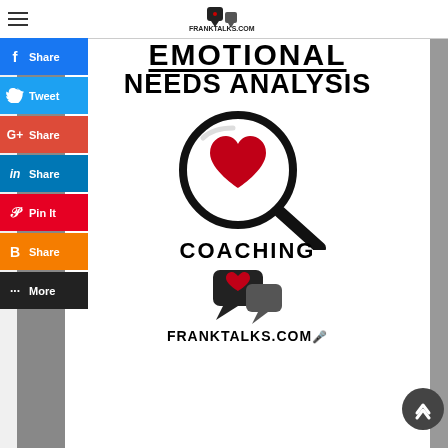FrankTalks.com
[Figure (illustration): Emotional Needs Analysis Coaching infographic with magnifying glass containing a red heart, chat bubble icon with heart, and FRANKTALKS.COM logo at bottom]
[Figure (infographic): Social media sharing sidebar with buttons: Share (Facebook), Tweet (Twitter), Share (Google+), Share (LinkedIn), Pin It (Pinterest), Share (Blogger), More]
EMOTIONAL NEEDS ANALYSIS COACHING
FRANKTALKS.COM